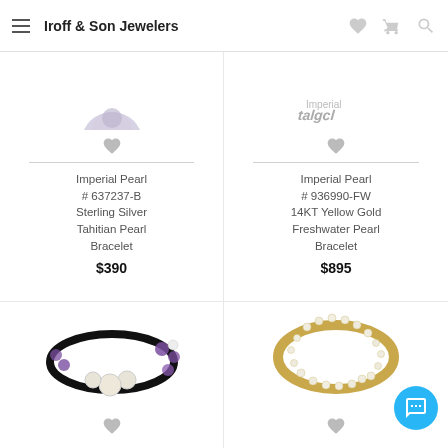Iroff & Son Jewelers
[Figure (photo): Partial view of a pearl/gemstone bracelet, cropped at top]
[Figure (photo): Partial view of a bracelet with text logo, cropped at top]
Imperial Pearl # 637237-B Sterling Silver Tahitian Pearl Bracelet
$390
Imperial Pearl # 936990-FW 14KT Yellow Gold Freshwater Pearl Bracelet
$895
[Figure (photo): Black cord bracelet with white freshwater pearls and purple amethyst beads]
[Figure (photo): Gold bangle bracelet with row of white pearls]